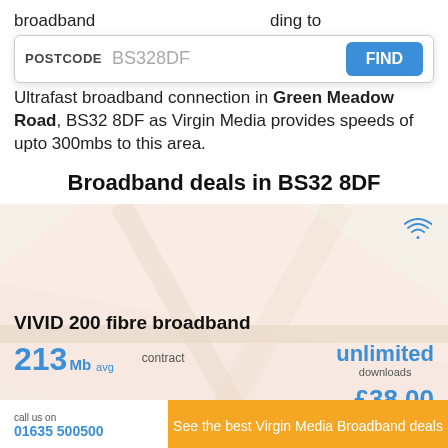broadband... according to Ofcom... for an Ultrafast broadband connection in Green Meadow Road, BS32 8DF as Virgin Media provides speeds of upto 300mbs to this area.
Broadband deals in BS32 8DF
[Figure (screenshot): Virgin Media VIVID 200 fibre broadband deal card showing 213Mb avg speed, unlimited downloads, £38.00 per month, £25.00 setup, with map background and WiFi icon]
VIVID 200 fibre broadband
213Mb avg
contract
unlimited downloads
£38.00
£25.00 setup
call us on 01635 500500
See the best Virgin Media Broadband deals